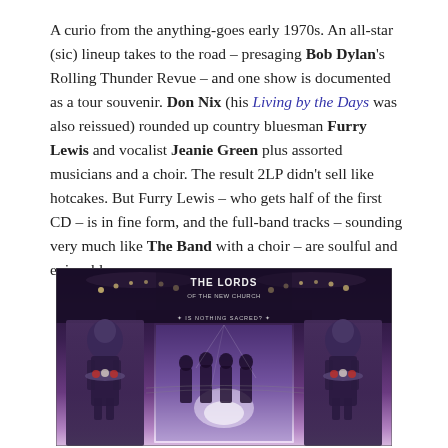A curio from the anything-goes early 1970s. An all-star (sic) lineup takes to the road – presaging Bob Dylan's Rolling Thunder Revue – and one show is documented as a tour souvenir. Don Nix (his Living by the Days was also reissued) rounded up country bluesman Furry Lewis and vocalist Jeanie Green plus assorted musicians and a choir. The result 2LP didn't sell like hotcakes. But Furry Lewis – who gets half of the first CD – is in fine form, and the full-band tracks – sounding very much like The Band with a choir – are soulful and enjoyable.
[Figure (photo): Album cover for 'The Lords of the New Church – Is Nothing Sacred?' featuring gothic illustration with two robotic/cybernetic figures flanking a central panel showing a band of four people, with chandelier and atmospheric purple/dark toned artwork]